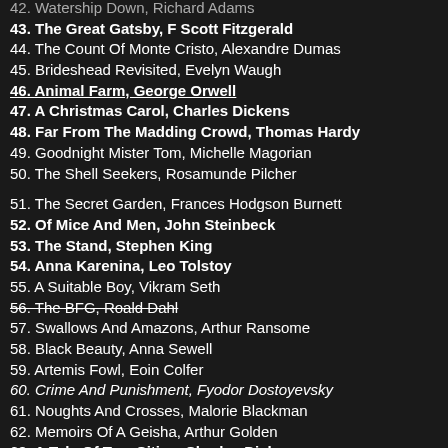42. Watership Down, Richard Adams (partial, cropped at top)
43. The Great Gatsby, F Scott Fitzgerald
44. The Count Of Monte Cristo, Alexandre Dumas
45. Brideshead Revisited, Evelyn Waugh
46. Animal Farm, George Orwell
47. A Christmas Carol, Charles Dickens
48. Far From The Madding Crowd, Thomas Hardy
49. Goodnight Mister Tom, Michelle Magorian
50. The Shell Seekers, Rosamunde Pilcher
51. The Secret Garden, Frances Hodgson Burnett
52. Of Mice And Men, John Steinbeck
53. The Stand, Stephen King
54. Anna Karenina, Leo Tolstoy
55. A Suitable Boy, Vikram Seth
56. The BFG, Roald Dahl
57. Swallows And Amazons, Arthur Ransome
58. Black Beauty, Anna Sewell
59. Artemis Fowl, Eoin Colfer
60. Crime And Punishment, Fyodor Dostoyevsky
61. Noughts And Crosses, Malorie Blackman
62. Memoirs Of A Geisha, Arthur Golden
63. A Tale Of Two Cities, Charles Dickens